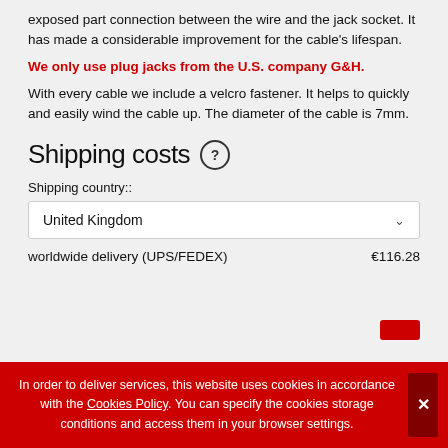exposed part connection between the wire and the jack socket. It has made a considerable improvement for the cable's lifespan.
We only use plug jacks from the U.S. company G&H.
With every cable we include a velcro fastener. It helps to quickly and easily wind the cable up. The diameter of the cable is 7mm.
Shipping costs
Shipping country::
United Kingdom
worldwide delivery (UPS/FEDEX)   €116.28
In order to deliver services, this website uses cookies in accordance with the Cookies Policy. You can specify the cookies storage conditions and access them in your browser settings.